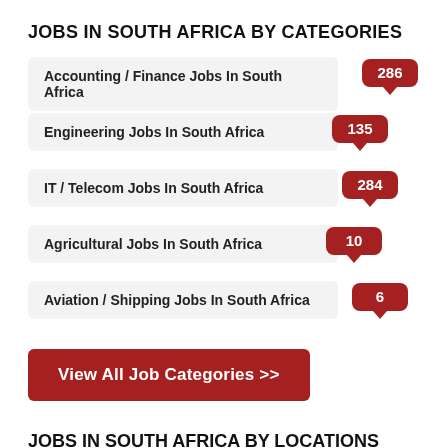JOBS IN SOUTH AFRICA BY CATEGORIES
Accounting / Finance Jobs In South Africa
Engineering Jobs In South Africa
IT / Telecom Jobs In South Africa
Agricultural Jobs In South Africa
Aviation / Shipping Jobs In South Africa
View All Job Categories >>
JOBS IN SOUTH AFRICA BY LOCATIONS
Jobs In Cape Town